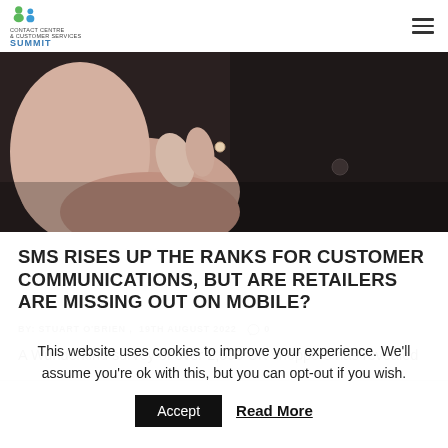Contact Centre & Customer Services Summit
[Figure (photo): Close-up photo of a person's hand/ear against a dark background, appearing to hold a phone to their ear]
SMS RISES UP THE RANKS FOR CUSTOMER COMMUNICATIONS, BUT ARE RETAILERS ARE MISSING OUT ON MOBILE?
BY: STUART O'BRIEN ,  19TH AUGUST 2022  0
A Wunderkind survey of over 2,000 UK shoppers has revealed
This website uses cookies to improve your experience. We'll assume you're ok with this, but you can opt-out if you wish.
Accept  Read More